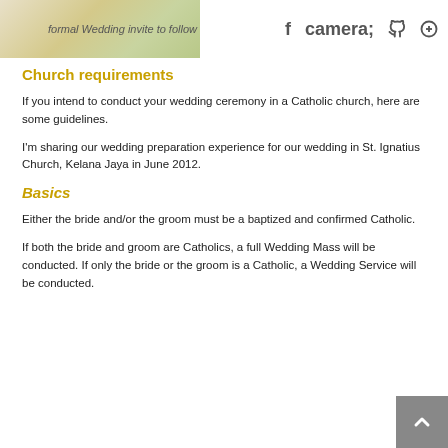formal Wedding invite to follow
Church requirements
If you intend to conduct your wedding ceremony in a Catholic church, here are some guidelines.
I'm sharing our wedding preparation experience for our wedding in St. Ignatius Church, Kelana Jaya in June 2012.
Basics
Either the bride and/or the groom must be a baptized and confirmed Catholic.
If both the bride and groom are Catholics, a full Wedding Mass will be conducted. If only the bride or the groom is a Catholic, a Wedding Service will be conducted.